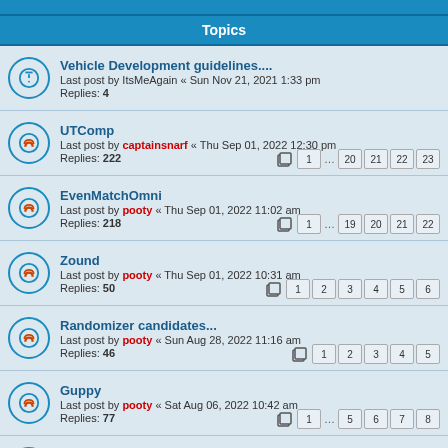Topics
Vehicle Development guidelines....
Last post by ItsMeAgain « Sun Nov 21, 2021 1:33 pm
Replies: 4
UTComp
Last post by captainsnarf « Thu Sep 01, 2022 12:30 pm
Replies: 222
EvenMatchOmni
Last post by pooty « Thu Sep 01, 2022 11:02 am
Replies: 218
Zound
Last post by pooty « Thu Sep 01, 2022 10:31 am
Replies: 50
Randomizer candidates...
Last post by pooty « Sun Aug 28, 2022 11:16 am
Replies: 46
Guppy
Last post by pooty « Sat Aug 06, 2022 10:42 am
Replies: 77
More ONS conversions
Last post by captainsnarf « Fri Aug 05, 2022 7:12 am
Replies: 7